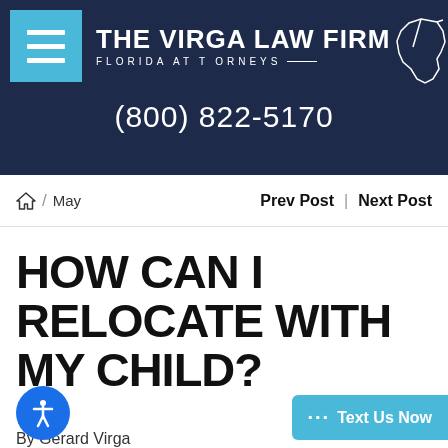[Figure (logo): The Virga Law Firm logo with hamburger menu button, firm name, Florida Attorneys tagline, Florida state outline, and phone number (800) 822-5170 on dark navy background]
Home / May    Prev Post | Next Post
HOW CAN I RELOCATE WITH MY CHILD?
By Gerard Virga